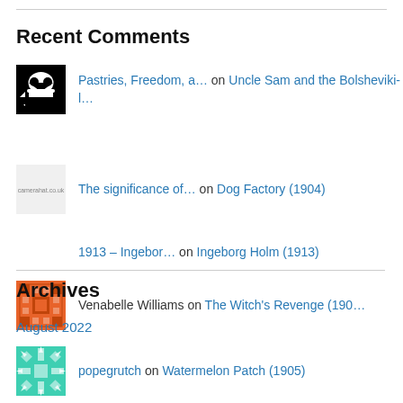Recent Comments
Pastries, Freedom, a… on Uncle Sam and the Bolsheviki-l…
The significance of… on Dog Factory (1904)
1913 – Ingebor… on Ingeborg Holm (1913)
Venabelle Williams on The Witch's Revenge (190…
popegrutch on Watermelon Patch (1905)
Archives
August 2022